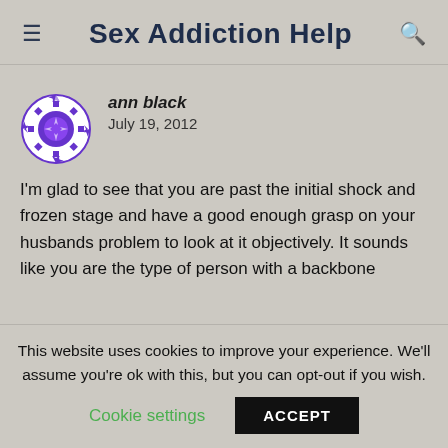Sex Addiction Help
[Figure (illustration): Purple decorative avatar icon with diamond/star pattern border]
ann black
July 19, 2012
I'm glad to see that you are past the initial shock and frozen stage and have a good enough grasp on your husbands problem to look at it objectively. It sounds like you are the type of person with a backbone
This website uses cookies to improve your experience. We'll assume you're ok with this, but you can opt-out if you wish.
Cookie settings   ACCEPT